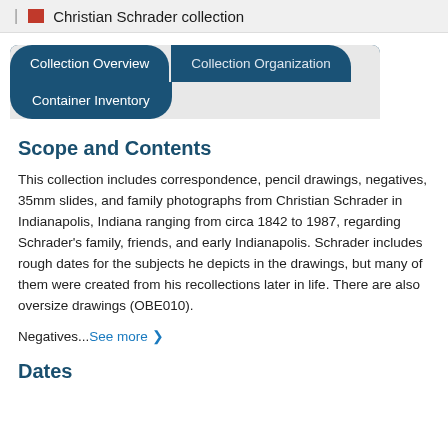| Christian Schrader collection
[Figure (screenshot): Navigation tabs showing Collection Overview, Collection Organization, and Container Inventory]
Scope and Contents
This collection includes correspondence, pencil drawings, negatives, 35mm slides, and family photographs from Christian Schrader in Indianapolis, Indiana ranging from circa 1842 to 1987, regarding Schrader's family, friends, and early Indianapolis. Schrader includes rough dates for the subjects he depicts in the drawings, but many of them were created from his recollections later in life. There are also oversize drawings (OBE010).
Negatives...See more ❯
Dates